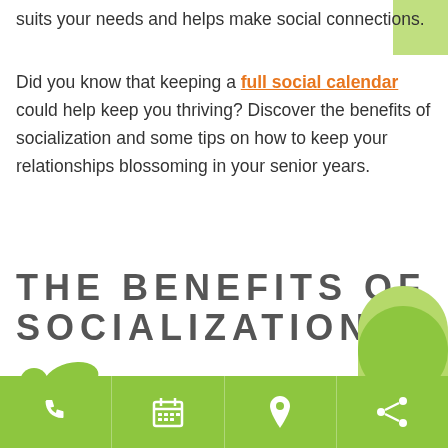suits your needs and helps make social connections.
Did you know that keeping a full social calendar could help keep you thriving? Discover the benefits of socialization and some tips on how to keep your relationships blossoming in your senior years.
THE BENEFITS OF SOCIALIZATION
[Figure (illustration): Two small green decorative leaf/oval shapes]
Humans are a social species. We rely on each other in communities and family groups to stay safe a...
[Figure (illustration): Green bottom navigation bar with phone, calendar, location, and share icons]